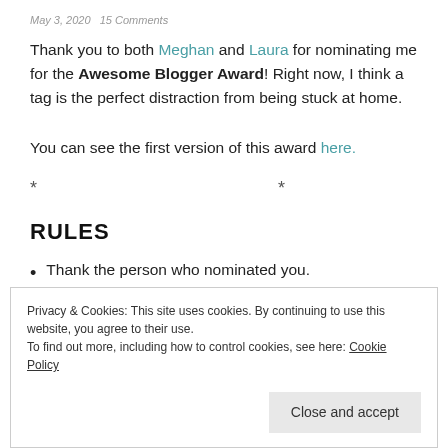May 3, 2020   15 Comments
Thank you to both Meghan and Laura for nominating me for the Awesome Blogger Award! Right now, I think a tag is the perfect distraction from being stuck at home.
You can see the first version of this award here.
* * *
RULES
Thank the person who nominated you.
Tag it under #awesomebloggeraward
Privacy & Cookies: This site uses cookies. By continuing to use this website, you agree to their use. To find out more, including how to control cookies, see here: Cookie Policy